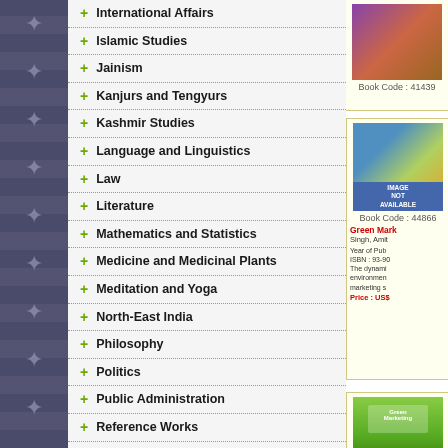+ International Affairs
+ Islamic Studies
+ Jainism
+ Kanjurs and Tengyurs
+ Kashmir Studies
+ Language and Linguistics
+ Law
+ Literature
+ Mathematics and Statistics
+ Medicine and Medicinal Plants
+ Meditation and Yoga
+ North-East India
+ Philosophy
+ Politics
+ Public Administration
+ Reference Works
+ Religion
+ Sanskrit Texts
+ Science and Technology
+ Sikhism
+ Sociology
[Figure (photo): Book cover image, Book Code: 41439]
Book Code : 41439
Green Mark
Singh, Amit
Year of Pub ISBN : 93-90 The dynamic environment marketing s Price : US$
[Figure (photo): Image Not Available placeholder, Book Code: 44866]
Book Code : 44866
Green Mark Behaviour
Loss, Monica
Year of Pub ISBN : 93-88 ABOUT TH importance world and fe Price : US$
[Figure (photo): Green Marketing book cover, Book Code: 41203]
Book Code : 41203